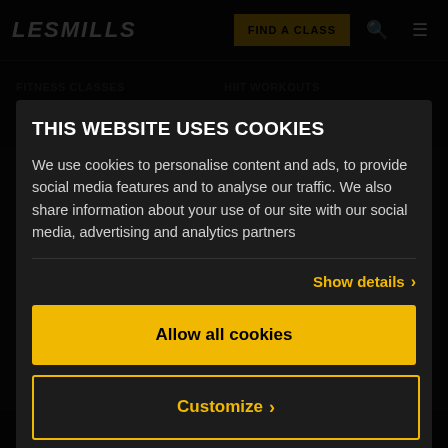[Figure (screenshot): Les Mills website navigation bar with logo, Find a Class button, search and menu icons]
FITNESS CLASSES    HIIT WORKOUTS
CLASSES ARE STRENGTH
THIS WEBSITE USES COOKIES
We use cookies to personalise content and ads, to provide social media features and to analyse our traffic. We also share information about your use of our site with our social media, advertising and analytics partners
BODYBALANCE
RPM
Show details ›
SHIBAM
Allow all cookies
GRIT JAC
GRIT STE
Customize ›
LESMILLS TONE
LESMILLS BARRE
Powered by Cookiebot by Usercentrics
THE TRIP
YOUTH CLASSES